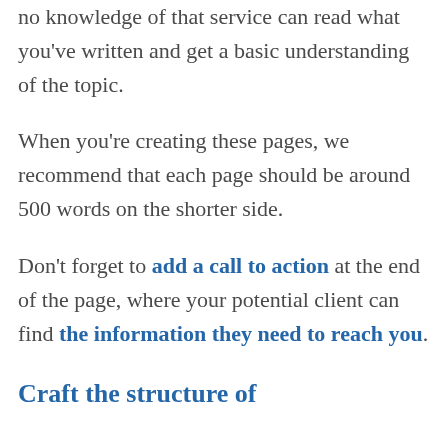no knowledge of that service can read what you've written and get a basic understanding of the topic.
When you're creating these pages, we recommend that each page should be around 500 words on the shorter side.
Don't forget to add a call to action at the end of the page, where your potential client can find the information they need to reach you.
Craft the structure of